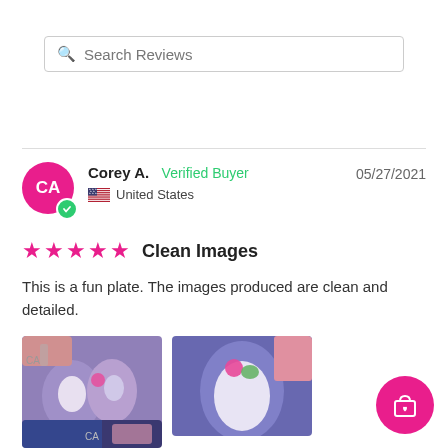[Figure (screenshot): Search Reviews input bar with magnifying glass icon]
Corey A.  Verified Buyer   05/27/2021
United States
★★★★★  Clean Images
This is a fun plate. The images produced are clean and detailed.
[Figure (photo): Close-up photo of decorated nails with purple/blue nail art and floral stamping patterns]
[Figure (photo): Close-up photo of a single nail with purple glitter and pink/green floral stamping]
[Figure (photo): Partial view of decorated nail with dark blue glitter nail art]